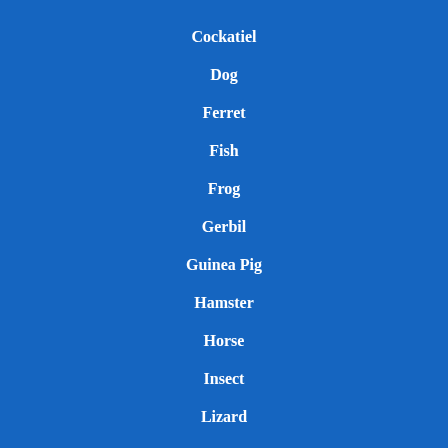Cockatiel
Dog
Ferret
Fish
Frog
Gerbil
Guinea Pig
Hamster
Horse
Insect
Lizard